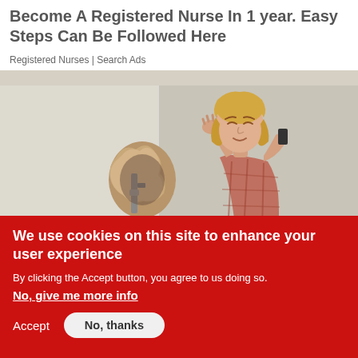Become A Registered Nurse In 1 year. Easy Steps Can Be Followed Here
Registered Nurses | Search Ads
[Figure (photo): A distressed woman with blonde hair talking on the phone with her hand on her head, standing in front of a wall with a burst pipe and water damage hole.]
We use cookies on this site to enhance your user experience
By clicking the Accept button, you agree to us doing so.
No, give me more info
Accept
No, thanks